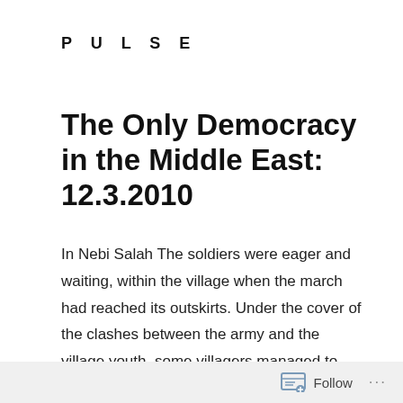PULSE
The Only Democracy in the Middle East: 12.3.2010
In Nebi Salah The soldiers were eager and waiting, within the village when the march had reached its outskirts. Under the cover of the clashes between the army and the village youth, some villagers managed to reach their natural spring, only to find settlers swimming in it. Soldiers who eventually got to the
Follow